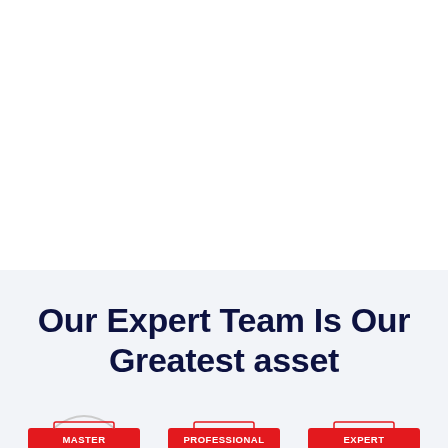Our Expert Team Is Our Greatest asset
[Figure (infographic): Three team member cards with red labels: MASTER, PROFESSIONAL, EXPERT, each with a decorative arc above the label badge.]